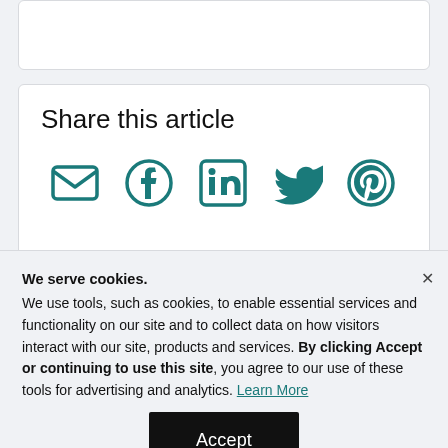[Figure (screenshot): Top white card placeholder with light border, partially visible]
Share this article
[Figure (infographic): Row of social share icons: email envelope, Facebook, LinkedIn, Twitter/X, Pinterest — all in teal color]
We serve cookies.
We use tools, such as cookies, to enable essential services and functionality on our site and to collect data on how visitors interact with our site, products and services. By clicking Accept or continuing to use this site, you agree to our use of these tools for advertising and analytics. Learn More
Accept
Decline
Manage Settings